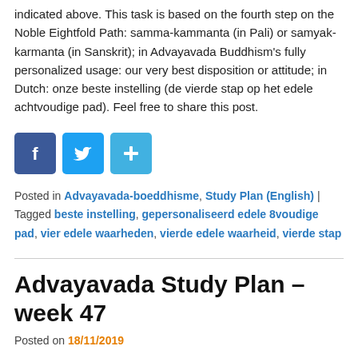commitment to continuously improve our way of life as indicated above. This task is based on the fourth step on the Noble Eightfold Path: samma-kammanta (in Pali) or samyak-karmanta (in Sanskrit); in Advayavada Buddhism's fully personalized usage: our very best disposition or attitude; in Dutch: onze beste instelling (de vierde stap op het edele achtvoudige pad). Feel free to share this post.
[Figure (infographic): Three social media sharing buttons: Facebook (blue, F icon), Twitter (light blue, bird icon), Share/More (blue, plus icon)]
Posted in Advayavada-boeddhisme, Study Plan (English) | Tagged beste instelling, gepersonaliseerd edele 8voudige pad, vier edele waarheden, vierde edele waarheid, vierde stap
Advayavada Study Plan – week 47
Posted on 18/11/2019